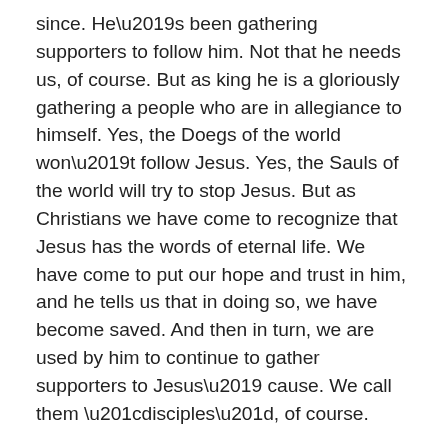since. He's been gathering supporters to follow him. Not that he needs us, of course. But as king he is a gloriously gathering a people who are in allegiance to himself. Yes, the Doegs of the world won't follow Jesus. Yes, the Sauls of the world will try to stop Jesus. But as Christians we have come to recognize that Jesus has the words of eternal life. We have come to put our hope and trust in him, and he tells us that in doing so, we have become saved. And then in turn, we are used by him to continue to gather supporters to Jesus' cause. We call them “disciples”, of course.
It won’t always be easy in this life to follow King Jesus. Think about this in light of verse 23. David told Abiathar the priest that his life was in danger because of David. That’s the same idea for us in Christ. As we place our allegiance in Christ, we are